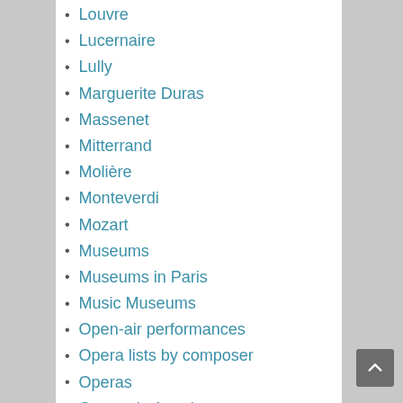Louvre
Lucernaire
Lully
Marguerite Duras
Massenet
Mitterrand
Molière
Monteverdi
Mozart
Museums
Museums in Paris
Music Museums
Open-air performances
Opera lists by composer
Operas
Operas in Austria
Operas in Belgium
Operas in France (outside of Paris)
Operas in Paris
Operas in Switzerland
Operettas